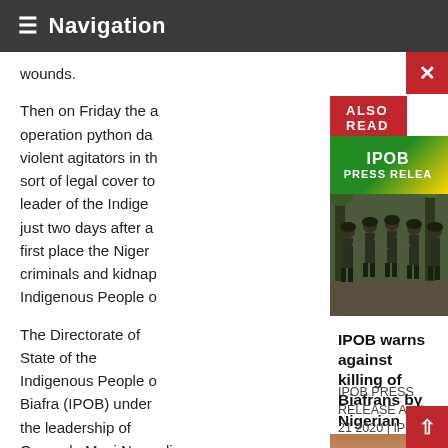≡ Navigation
wounds.
Then on Friday the operation python da violent agitators in t sort of legal cover to leader of the Indige just two days after a first place the Nigeri criminals and kidnap Indigenous People o
The Directorate of State of the Indigenous People o Biafra (IPOB) under the leadership of Onyendu Mazi Nnamdi
ALSO READ
[Figure (photo): IPOB Press Release banner with Nigerian security forces/police in tactical gear on a street]
IPOB warns against killing of Biafrans by Nigerian Security Operatives
IPOB PRESS RELEASE April 21 2020 | IPOB We the global family of the Indigenous People of Biafra IPOB ably led by
[Figure (photo): Second article image - brownish/reddish surface or ground]